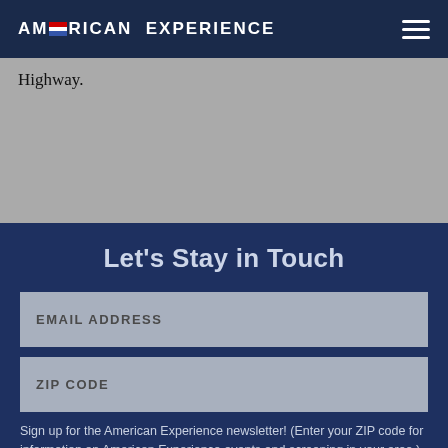AMERICAN EXPERIENCE
Highway.
Let's Stay in Touch
EMAIL ADDRESS
ZIP CODE
Sign up for the American Experience newsletter! (Enter your ZIP code for information on American Experience events and screening in your area.)